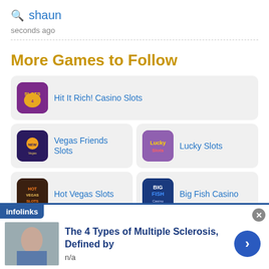shaun
seconds ago
More Games to Follow
Hit It Rich! Casino Slots
Vegas Friends Slots
Lucky Slots
Hot Vegas Slots
Big Fish Casino
Top Game Forums
[Figure (screenshot): Advertisement banner: infolinks ad showing 'The 4 Types of Multiple Sclerosis, Defined by' with a woman in medical setting photo, n/a text, and a blue arrow button]
The 4 Types of Multiple Sclerosis, Defined by